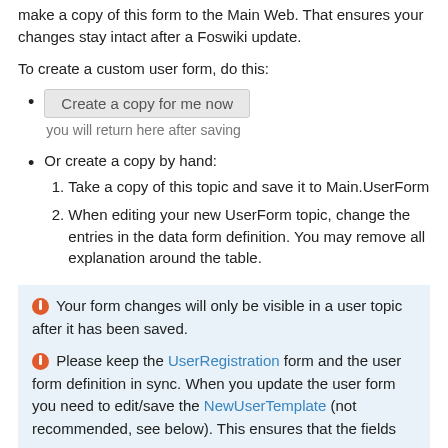make a copy of this form to the Main Web. That ensures your changes stay intact after a Foswiki update.
To create a custom user form, do this:
Create a copy for me now
you will return here after saving
Or create a copy by hand:
1. Take a copy of this topic and save it to Main.UserForm
2. When editing your new UserForm topic, change the entries in the data form definition. You may remove all explanation around the table.
Your form changes will only be visible in a user topic after it has been saved.
Please keep the UserRegistration form and the user form definition in sync. When you update the user form you need to edit/save the NewUserTemplate (not recommended, see below). This ensures that the fields are